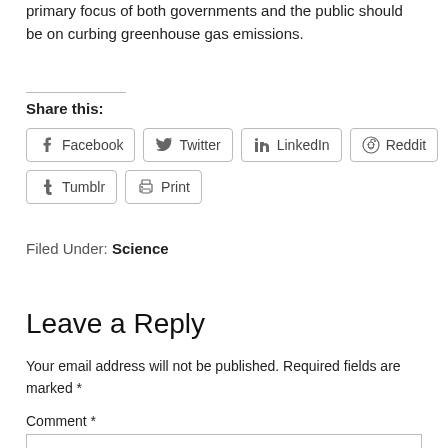primary focus of both governments and the public should be on curbing greenhouse gas emissions.
Share this:
Facebook  Twitter  LinkedIn  Reddit  Tumblr  Print
Filed Under: Science
Leave a Reply
Your email address will not be published. Required fields are marked *
Comment *